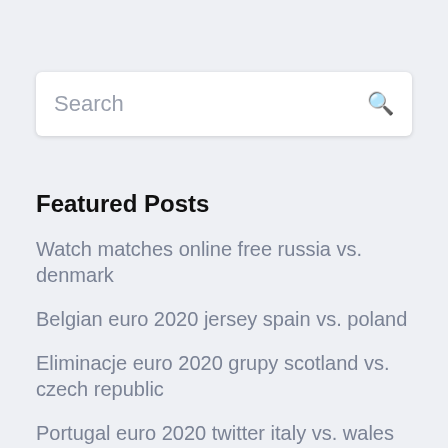Search
Featured Posts
Watch matches online free russia vs. denmark
Belgian euro 2020 jersey spain vs. poland
Eliminacje euro 2020 grupy scotland vs. czech republic
Portugal euro 2020 twitter italy vs. wales
Euro 2020 qualifiers on tv sweden vs. poland
Online tv streams ukraine vs. north macedonia